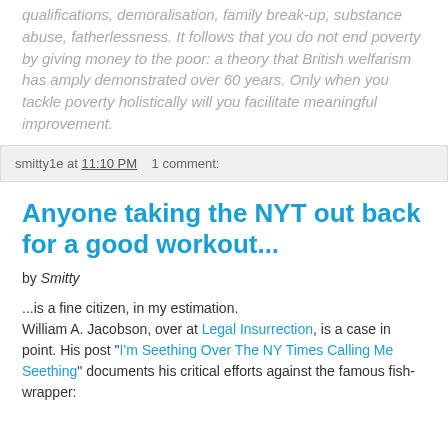qualifications, demoralisation, family break-up, substance abuse, fatherlessness. It follows that you do not end poverty by giving money to the poor: a theory that British welfarism has amply demonstrated over 60 years. Only when you tackle poverty holistically will you facilitate meaningful improvement.
smitty1e at 11:10 PM   1 comment:
Anyone taking the NYT out back for a good workout...
by Smitty
...is a fine citizen, in my estimation. William A. Jacobson, over at Legal Insurrection, is a case in point. His post "I'm Seething Over The NY Times Calling Me Seething" documents his critical efforts against the famous fish-wrapper: